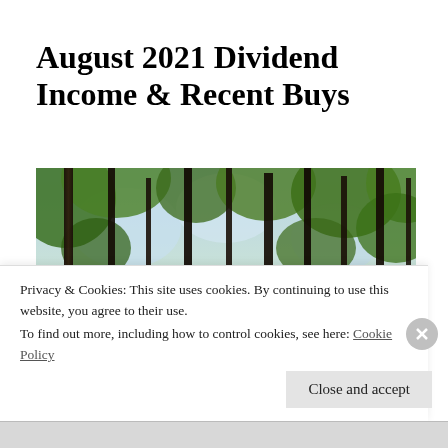August 2021 Dividend Income & Recent Buys
[Figure (photo): Upward view through tall dark tree trunks into a green forest canopy with sunlight filtering through leaves]
Privacy & Cookies: This site uses cookies. By continuing to use this website, you agree to their use.
To find out more, including how to control cookies, see here: Cookie Policy
Close and accept